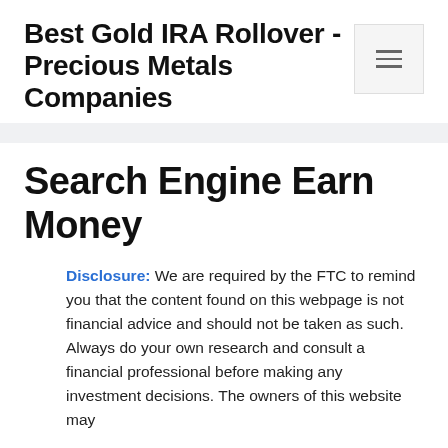Best Gold IRA Rollover - Precious Metals Companies
Search Engine Earn Money
Disclosure: We are required by the FTC to remind you that the content found on this webpage is not financial advice and should not be taken as such. Always do your own research and consult a financial professional before making any investment decisions. The owners of this website may